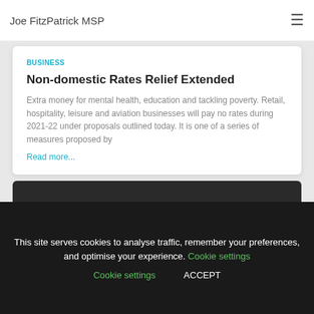Joe FitzPatrick MSP
BUSINESS
Non-domestic Rates Relief Extended
Extra money for mental health, education and tackling poverty. Retail, hospitality, leisure and aviation businesses will pay no rates during 2021-22 under proposals outlined today. It is one of a series of measures proposed by
Read more...
This site serves cookies to analyse traffic, remember your preferences, and optimise your experience. Cookie settings  ACCEPT